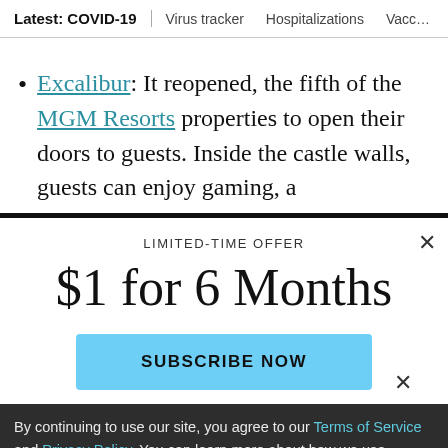Latest: COVID-19 | Virus tracker | Hospitalizations | Vacc...
Excalibur: It reopened, the fifth of the MGM Resorts properties to open their doors to guests. Inside the castle walls, guests can enjoy gaming, a
LIMITED-TIME OFFER
$1 for 6 Months
SUBSCRIBE NOW
By continuing to use our site, you agree to our Terms of Service and Privacy Policy. You can learn more about how we use cookies by reviewing our Privacy Policy. Close